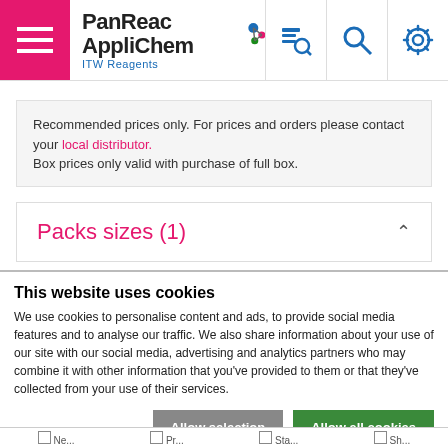[Figure (logo): PanReac AppliChem ITW Reagents logo with hamburger menu, navigation icons (catalog search, search, settings)]
Recommended prices only. For prices and orders please contact your local distributor.
Box prices only valid with purchase of full box.
Packs sizes (1)
This website uses cookies
We use cookies to personalise content and ads, to provide social media features and to analyse our traffic. We also share information about your use of our site with our social media, advertising and analytics partners who may combine it with other information that you've provided to them or that they've collected from your use of their services.